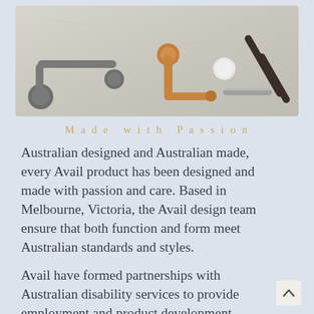[Figure (photo): Flat-lay photo of bathroom grab rail / toilet roll holder accessories in three finishes: matte grey, brushed copper/gold, and dark bronze/oil-rubbed, arranged on a light stone surface.]
Made with Passion
Australian designed and Australian made, every Avail product has been designed and made with passion and care. Based in Melbourne, Victoria, the Avail design team ensure that both function and form meet Australian standards and styles.
Avail have formed partnerships with Australian disability services to provide employment and product development